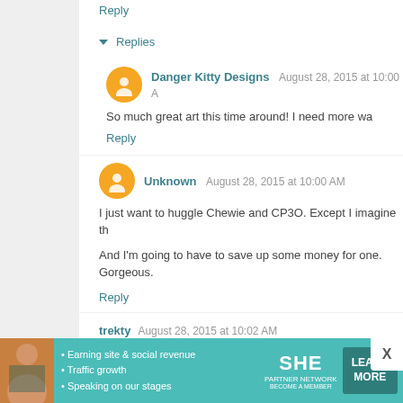▾ Replies
Danger Kitty Designs  August 28, 2015 at 10:00 A
So much great art this time around! I need more wa
Reply
Unknown  August 28, 2015 at 10:00 AM
I just want to huggle Chewie and CP3O. Except I imagine th
And I'm going to have to save up some money for one. Gorgeous.
Reply
trekty  August 28, 2015 at 10:02 AM
So much art!! I have so many favorites on the Art Board, an
Reply
[Figure (infographic): SHE Partner Network advertisement banner with teal background, woman photo, bullet points about earning site & social revenue, traffic growth, speaking on stages, SHE logo, and LEARN MORE button.]